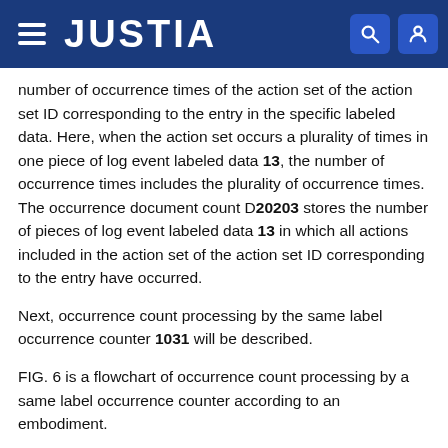JUSTIA
number of occurrence times of the action set of the action set ID corresponding to the entry in the specific labeled data. Here, when the action set occurs a plurality of times in one piece of log event labeled data 13, the number of occurrence times includes the plurality of occurrence times. The occurrence document count D20203 stores the number of pieces of log event labeled data 13 in which all actions included in the action set of the action set ID corresponding to the entry have occurred.
Next, occurrence count processing by the same label occurrence counter 1031 will be described.
FIG. 6 is a flowchart of occurrence count processing by a same label occurrence counter according to an embodiment.